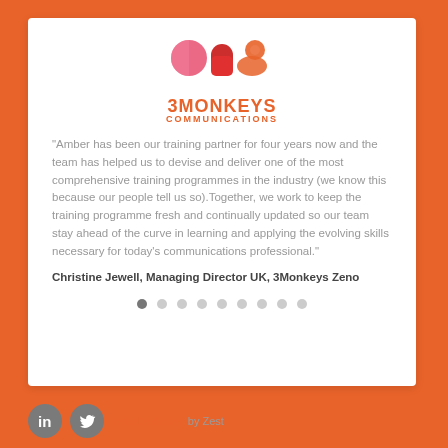[Figure (logo): 3Monkeys Communications logo with three circular shapes in pink, red, and orange above the text '3MONKEYS COMMUNICATIONS']
“Amber has been our training partner for four years now and the team has helped us to devise and deliver one of the most comprehensive training programmes in the industry (we know this because our people tell us so).Together, we work to keep the training programme fresh and continually updated so our team stay ahead of the curve in learning and applying the evolving skills necessary for today’s communications professional.”
Christine Jewell, Managing Director UK, 3Monkeys Zeno
[Figure (infographic): Navigation dots row: first dot dark/active, eight following dots light grey]
website design by Zest